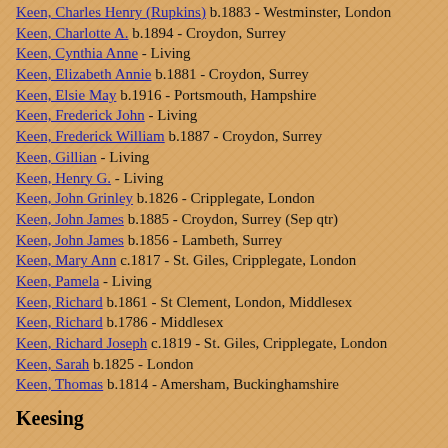Keen, Charles Henry (Rupkins) b.1883 - Westminster, London
Keen, Charlotte A. b.1894 - Croydon, Surrey
Keen, Cynthia Anne - Living
Keen, Elizabeth Annie b.1881 - Croydon, Surrey
Keen, Elsie May b.1916 - Portsmouth, Hampshire
Keen, Frederick John - Living
Keen, Frederick William b.1887 - Croydon, Surrey
Keen, Gillian - Living
Keen, Henry G. - Living
Keen, John Grinley b.1826 - Cripplegate, London
Keen, John James b.1885 - Croydon, Surrey (Sep qtr)
Keen, John James b.1856 - Lambeth, Surrey
Keen, Mary Ann c.1817 - St. Giles, Cripplegate, London
Keen, Pamela - Living
Keen, Richard b.1861 - St Clement, London, Middlesex
Keen, Richard b.1786 - Middlesex
Keen, Richard Joseph c.1819 - St. Giles, Cripplegate, London
Keen, Sarah b.1825 - London
Keen, Thomas b.1814 - Amersham, Buckinghamshire
Keesing